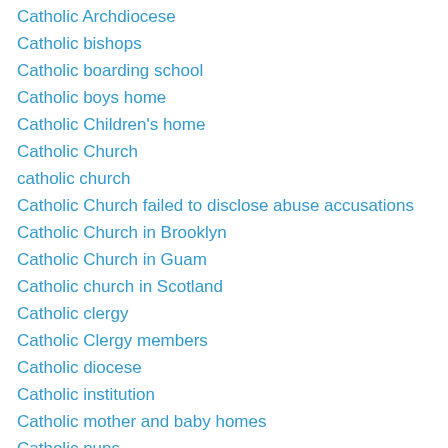Catholic Archdiocese
Catholic bishops
Catholic boarding school
Catholic boys home
Catholic Children's home
Catholic Church
catholic church
Catholic Church failed to disclose abuse accusations
Catholic Church in Brooklyn
Catholic Church in Guam
Catholic church in Scotland
Catholic clergy
Catholic Clergy members
Catholic diocese
Catholic institution
Catholic mother and baby homes
Catholic nuns
Catholic order
Catholic organizations
Catholic priest